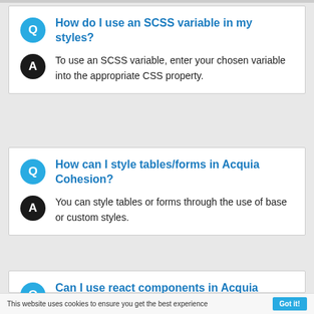How do I use an SCSS variable in my styles?
To use an SCSS variable, enter your chosen variable into the appropriate CSS property.
How can I style tables/forms in Acquia Cohesion?
You can style tables or forms through the use of base or custom styles.
Can I use react components in Acquia
This website uses cookies to ensure you get the best experience